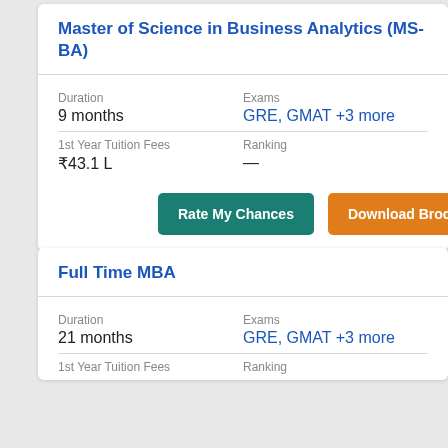Master of Science in Business Analytics (MS-BA)
Duration
9 months
Exams
GRE, GMAT +3 more
1st Year Tuition Fees
₹43.1 L
Ranking
—
Rate My Chances
Download Brochure
Full Time MBA
Duration
21 months
Exams
GRE, GMAT +3 more
1st Year Tuition Fees
Ranking